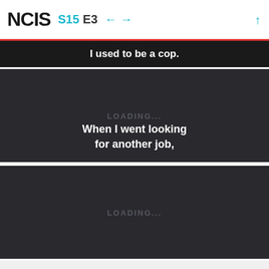NCIS S15 E3
I used to be a cop.
[Figure (screenshot): Dark video frame loading panel with 'LOADING...' text and subtitle 'When I went looking for another job,']
[Figure (screenshot): Dark video frame loading panel with 'LOADING...' text, partially visible]